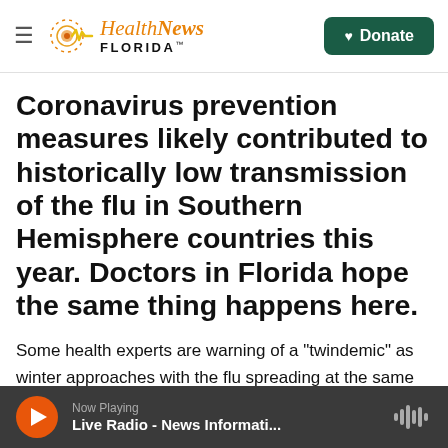Health News Florida
Coronavirus prevention measures likely contributed to historically low transmission of the flu in Southern Hemisphere countries this year. Doctors in Florida hope the same thing happens here.
Some health experts are warning of a "twindemic" as winter approaches with the flu spreading at the same time as the coronavirus.
Now Playing — Live Radio - News Informati...